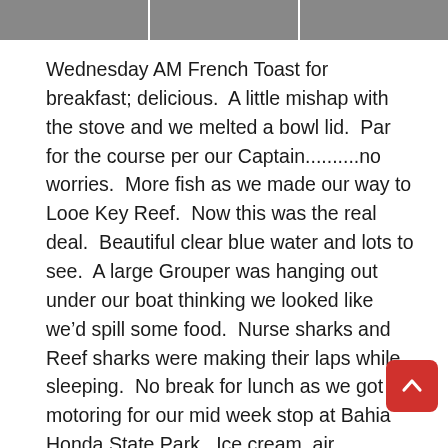[Figure (photo): Three partial photo thumbnails in a horizontal strip at the top of the page]
Wednesday AM French Toast for breakfast; delicious.  A little mishap with the stove and we melted a bowl lid.  Par for the course per our Captain..........no worries.  More fish as we made our way to Looe Key Reef.  Now this was the real deal.  Beautiful clear blue water and lots to see.  A large Grouper was hanging out under our boat thinking we looked like we’d spill some food.  Nurse sharks and Reef sharks were making their laps while sleeping.  No break for lunch as we got motoring for our mid week stop at Bahia Honda State Park.  Ice cream, air conditioning, and land..........felt good. Did a little exploring around the rocky beach. Lizards seemed to rule the roost.  In the swimming area, scouts setup “Lilly Pads” which pretty much became a floating mosh pit.  Lots of fun, no injuries to speak of.  Dinner time!  Broke out some charcoal and cooked up our